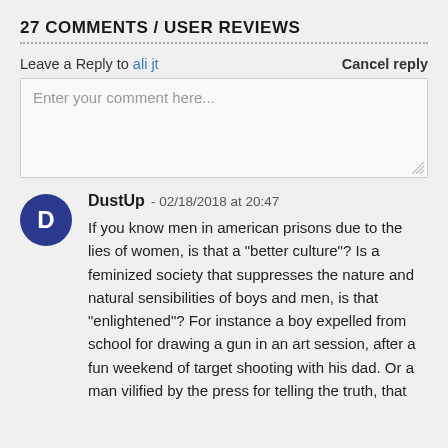27 COMMENTS / USER REVIEWS
Leave a Reply to ali jt   Cancel reply
Enter your comment here...
DustUp - 02/18/2018 at 20:47
If you know men in american prisons due to the lies of women, is that a "better culture"? Is a feminized society that suppresses the nature and natural sensibilities of boys and men, is that "enlightened"? For instance a boy expelled from school for drawing a gun in an art session, after a fun weekend of target shooting with his dad. Or a man vilified by the press for telling the truth, that